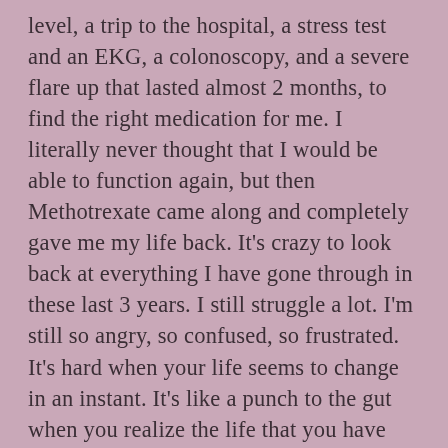level, a trip to the hospital, a stress test and an EKG, a colonoscopy, and a severe flare up that lasted almost 2 months, to find the right medication for me. I literally never thought that I would be able to function again, but then Methotrexate came along and completely gave me my life back. It's crazy to look back at everything I have gone through in these last 3 years. I still struggle a lot. I'm still so angry, so confused, so frustrated. It's hard when your life seems to change in an instant. It's like a punch to the gut when you realize the life that you have imagined for yourself is not guaranteed. The person I was 3 years ago is not the person that I am today. Of course,